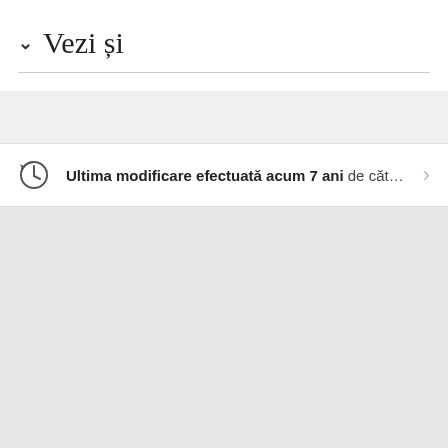Vezi și
Ultima modificare efectuată acum 7 ani de către Te...